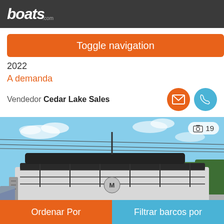boats.com
Toggle navigation
2022
A demanda
Vendedor Cedar Lake Sales
[Figure (photo): Pontoon boat on trailer in a parking lot, blue sky background, 19 photos indicator]
Ordenar Por
Filtrar barcos por